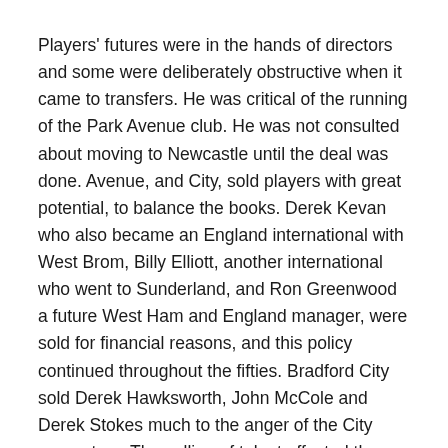Players' futures were in the hands of directors and some were deliberately obstructive when it came to transfers. He was critical of the running of the Park Avenue club. He was not consulted about moving to Newcastle until the deal was done. Avenue, and City, sold players with great potential, to balance the books. Derek Kevan who also became an England international with West Brom, Billy Elliott, another international who went to Sunderland, and Ron Greenwood a future West Ham and England manager, were sold for financial reasons, and this policy continued throughout the fifties. Bradford City sold Derek Hawksworth, John McCole and Derek Stokes much to the anger of the City supporters. The selling of talent affected the success of the Bradford clubs. (10)